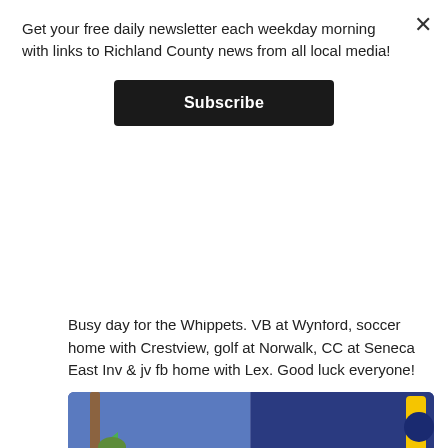Get your free daily newsletter each weekday morning with links to Richland County news from all local media!
Subscribe
[Figure (photo): Partial view of dark objects on a light surface, appears to be a close-up photograph]
7h
Shelby Athletics @scsathletics1
Busy day for the Whippets. VB at Wynford, soccer home with Crestview, golf at Norwalk, CC at Seneca East Inv & jv fb home with Lex. Good luck everyone!
[Figure (photo): Partial view of an animated/cartoon image with colorful characters, appears to be a meme]